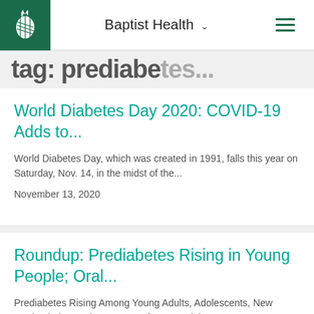Baptist Health
Tag: prediabetes (cut off)
World Diabetes Day 2020: COVID-19 Adds to...
World Diabetes Day, which was created in 1991, falls this year on Saturday, Nov. 14, in the midst of the...
November 13, 2020
Roundup: Prediabetes Rising in Young People; Oral...
Prediabetes Rising Among Young Adults, Adolescents, New Study Finds Nearly a quarter of young adults, ages 19 to 34, and...
December 6, 2019